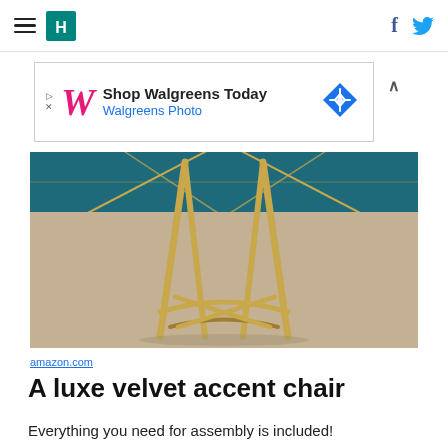HuffPost navigation with hamburger menu, HP logo, Facebook and Twitter icons
[Figure (other): Walgreens advertisement banner: Shop Walgreens Today / Walgreens Photo with Walgreens logo and blue diamond navigation icon]
[Figure (photo): Close-up photograph of gold metal wire chair legs resting on a beige shaggy carpet, with a teal/blue geometric rug visible in the background]
amazon.com
A luxe velvet accent chair
Everything you need for assembly is included!